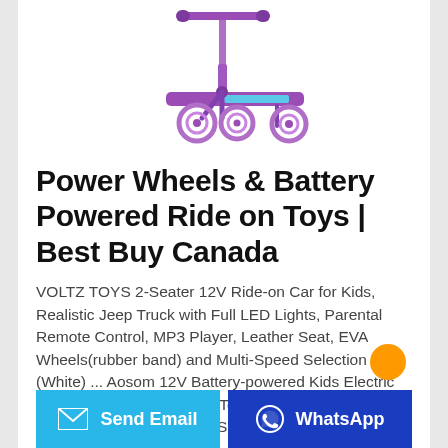[Figure (photo): A purple children's kick scooter with three wheels and decorative graphics, shown on a white background]
Power Wheels & Battery Powered Ride on Toys | Best Buy Canada
VOLTZ TOYS 2-Seater 12V Ride-on Car for Kids, Realistic Jeep Truck with Full LED Lights, Parental Remote Control, MP3 Player, Leather Seat, EVA Wheels(rubber band) and Multi-Speed Selection (White) ... Aosom 12V Battery-powered Kids Electric Ride On Car Pickup Truck Toy with Parental Remote Control Music Lights MP3 Suspension Wheels for 3-8
Send Email | WhatsApp